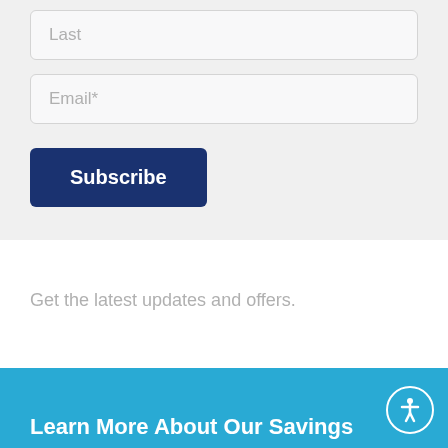[Figure (screenshot): Form input field with placeholder text 'Last']
[Figure (screenshot): Form input field with placeholder text 'Email*']
[Figure (screenshot): Subscribe button in dark navy blue]
Get the latest updates and offers.
Learn More About Our Savings